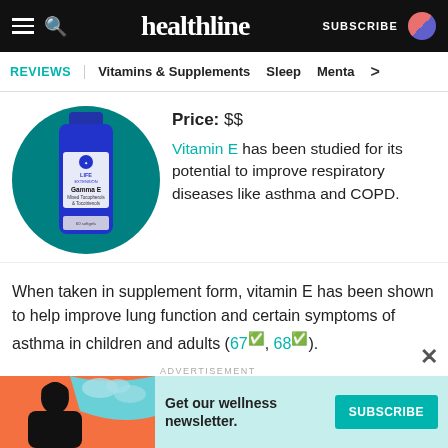healthline — SUBSCRIBE
REVIEWS | Vitamins & Supplements | Sleep | Menta >
[Figure (photo): Life Extension Gamma E Mixed Tocopherols & Tocotrienols supplement bottle on a teal circular background]
Price: $$
Vitamin E has been studied for its potential to improve respiratory diseases like asthma and COPD.
When taken in supplement form, vitamin E has been shown to help improve lung function and certain symptoms of asthma in children and adults (67, 68).
ADVERTISEMENT
[Figure (infographic): Advertisement banner: Get our wellness newsletter with SUBSCRIBE button on teal background]
Get our wellness newsletter.